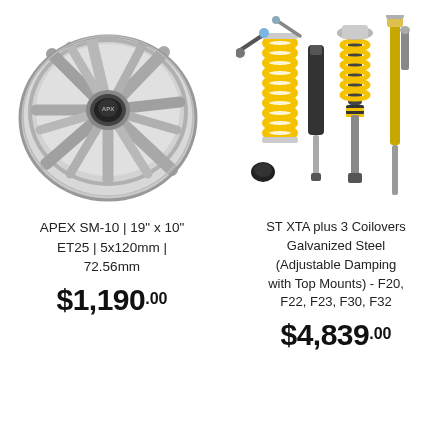[Figure (photo): Silver APEX SM-10 alloy wheel, 19 inch, shown at an angle on white background]
[Figure (photo): ST XTA plus 3 coilover kit components including yellow springs, shock absorbers, and hardware laid out on white background]
APEX SM-10 | 19" x 10" ET25 | 5x120mm | 72.56mm
$1,190.00
ST XTA plus 3 Coilovers Galvanized Steel (Adjustable Damping with Top Mounts) - F20, F22, F23, F30, F32
$4,839.00